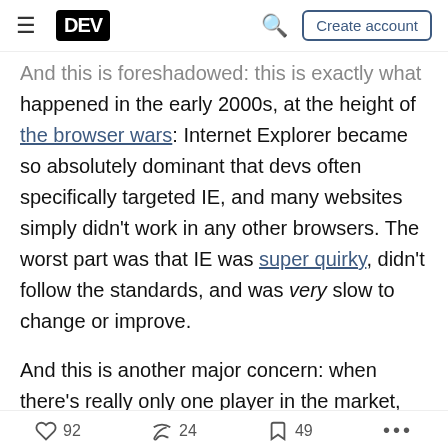DEV | Create account
And this is foreshadowed: this is exactly what happened in the early 2000s, at the height of the browser wars: Internet Explorer became so absolutely dominant that devs often specifically targeted IE, and many websites simply didn't work in any other browsers. The worst part was that IE was super quirky, didn't follow the standards, and was very slow to change or improve.
And this is another major concern: when there's really only one player in the market, the push for that browser vendor to follow standards and play by the rules declines; they can effectively do whatever they want. You might think that the developer community
92  24  49  ...